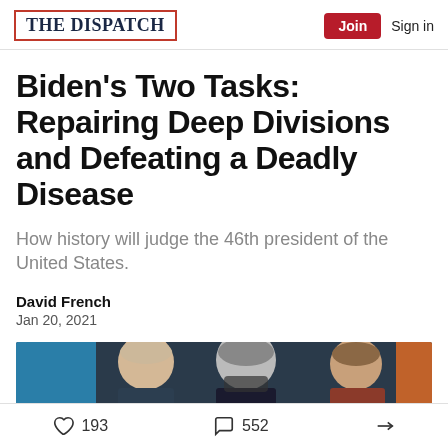THE DISPATCH | Join  Sign in
Biden's Two Tasks: Repairing Deep Divisions and Defeating a Deadly Disease
How history will judge the 46th president of the United States.
David French
Jan 20, 2021
[Figure (photo): Photo of Biden and others at a formal event, partially cropped]
193 likes  552 comments  share